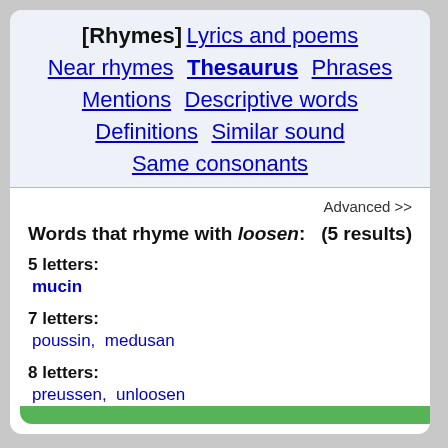[Rhymes] Lyrics and poems Near rhymes Thesaurus Phrases Mentions Descriptive words Definitions Similar sound Same consonants
Advanced >>
Words that rhyme with loosen: (5 results)
5 letters: mucin
7 letters: poussin, medusan
8 letters: preussen, unloosen